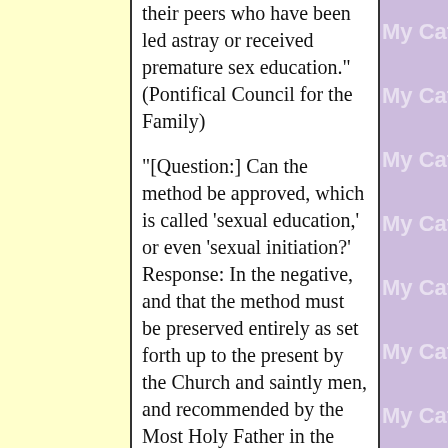their peers who have been led astray or received premature sex education." (Pontifical Council for the Family)
"[Question:] Can the method be approved, which is called 'sexual education,' or even 'sexual initiation?' Response: In the negative, and that the method must be preserved entirely as set forth up to the present by the Church and saintly men, and recommended by the Most Holy Father in the Encyclical Letter, 'On the Christian Education of Youth,'
[Figure (other): Repeating 'My Catho' text watermark on purple background column]